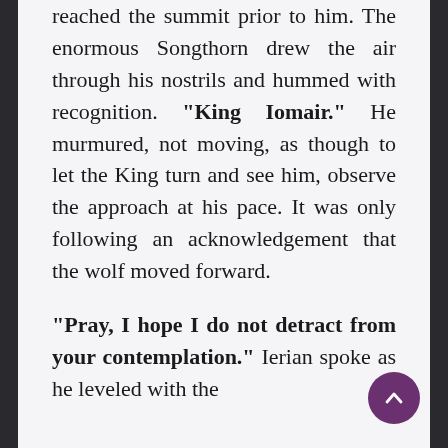reached the summit prior to him. The enormous Songthorn drew the air through his nostrils and hummed with recognition. "King Iomair." He murmured, not moving, as though to let the King turn and see him, observe the approach at his pace. It was only following an acknowledgement that the wolf moved forward.

"Pray, I hope I do not detract from your contemplation." Ierian spoke as he leveled with the